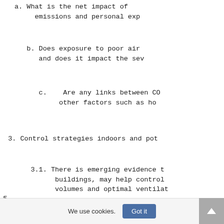a. What is the net impact of emissions and personal exp
b. Does exposure to poor air and does it impact the sev
c.   Are any links between CO other factors such as ho
3. Control strategies indoors and pot
3.1. There is emerging evidence t buildings, may help control volumes and optimal ventilat
5